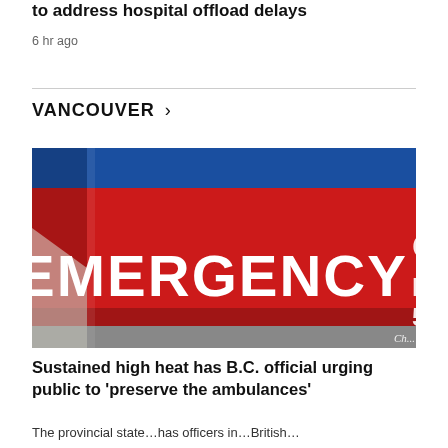to address hospital offload delays
6 hr ago
VANCOUVER >
[Figure (photo): Close-up photo of a red and blue Emergency sign on a hospital building, with large white bold letters reading EMERGENCY]
Sustained high heat has B.C. official urging public to 'preserve the ambulances'
The provincial state…has officers in…British…